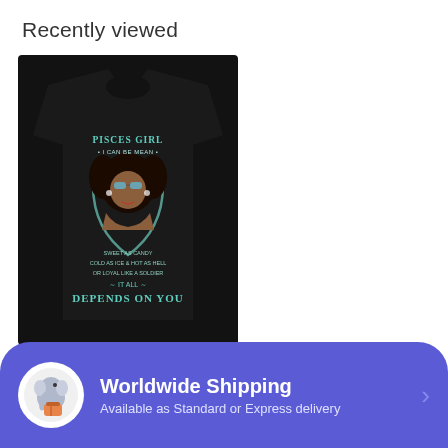Recently viewed
[Figure (photo): Black t-shirt with Pisces zodiac design showing a woman with sunglasses and text: PISCES GIRL I CAN BE MEAN... SWEET AS CANDY, COLD AS ICE & HOT AS HELL, OR LOYAL LIKE A SOLDIER, IT ALL DEPENDS ON YOU]
Pisces Zodiac T Shirt
$12.95 $26.95
Worldwide Shipping
Available as Standard or Express delivery